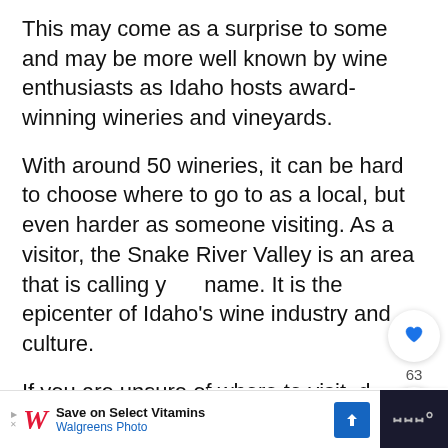This may come as a surprise to some and may be more well known by wine enthusiasts as Idaho hosts award-winning wineries and vineyards.
With around 50 wineries, it can be hard to choose where to go to as a local, but even harder as someone visiting. As a visitor, the Snake River Valley is an area that is calling your name. It is the epicenter of Idaho's wine industry and culture.
If you are unsure of where to visit, don't worry, we will give you a list of ten wineries and vineyards to check out in the Snake River V...
[Figure (screenshot): UI overlay with heart/like button showing 63 likes and a share button]
[Figure (screenshot): What's Next panel showing Vermont Wine Tasting article thumbnail]
[Figure (screenshot): Walgreens advertisement banner: Save on Select Vitamins, Walgreens Photo, with arrow icon and dark box on right]